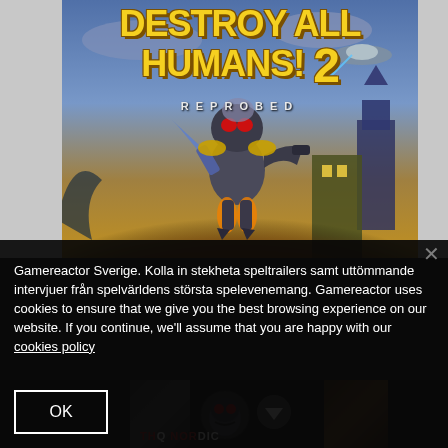[Figure (illustration): Game cover art for 'Destroy All Humans! 2 Reprobed' showing an alien robot character wielding weapons against a city backdrop with explosion effects, UFO, and Big Ben silhouette. Title text in yellow bold letters at top.]
Gamereactor Sverige. Kolla in stekheta speltrailers samt uttömmande intervjuer från spelvärldens största spelevenemang. Gamereactor uses cookies to ensure that we give you the best browsing experience on our website. If you continue, we'll assume that you are happy with our cookies policy
OK